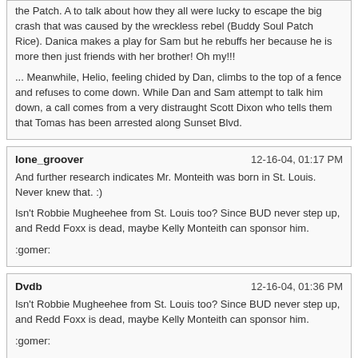the Patch. A to talk about how they all were lucky to escape the big crash that was caused by the wreckless rebel (Buddy Soul Patch Rice). Danica makes a play for Sam but he rebuffs her because he is more then just friends with her brother! Oh my!!!

... Meanwhile, Helio, feeling chided by Dan, climbs to the top of a fence and refuses to come down. While Dan and Sam attempt to talk him down, a call comes from a very distraught Scott Dixon who tells them that Tomas has been arrested along Sunset Blvd.
lone_groover	12-16-04, 01:17 PM
And further research indicates Mr. Monteith was born in St. Louis. Never knew that. :)

Isn't Robbie Mugheehee from St. Louis too? Since BUD never step up, and Redd Foxx is dead, maybe Kelly Monteith can sponsor him.

:gomer:
Dvdb	12-16-04, 01:36 PM
Isn't Robbie Mugheehee from St. Louis too? Since BUD never step up, and Redd Foxx is dead, maybe Kelly Monteith can sponsor him.

:gomer:

or a consortium of John Goodman, David Sanborn, Michael McDonald and Phyllis Diller??
;)
lone_groover	12-16-04, 01:58 PM
Man, makes for one freaky Justice League!